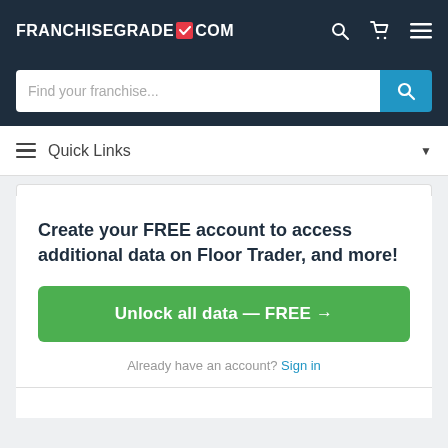FRANCHISEGRADE.COM
[Figure (screenshot): Search bar with placeholder text 'Find your franchise...' and a blue search button]
Quick Links
Create your FREE account to access additional data on Floor Trader, and more!
Unlock all data — FREE →
Already have an account? Sign in